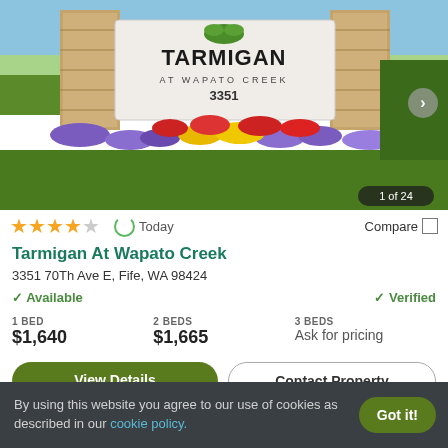[Figure (photo): Apartment complex entrance sign reading TARMIGAN AT WAPATO CREEK 3351, surrounded by colorful flowers and stone pillars. Badge shows '1 of 24'.]
★★★★☆   Today   Compare
Tarmigan At Wapato Creek
3351 70Th Ave E, Fife, WA 98424
✓ Available   ✓ Verified
1 BED
$1,640
2 BEDS
$1,665
3 BEDS
Ask for pricing
View Details   Contact Property
By using this website you agree to our use of cookies as described in our cookie policy.   Got it!